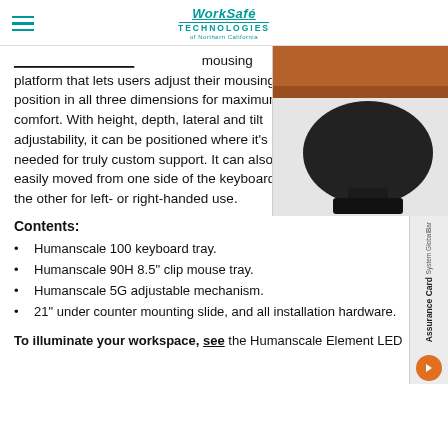WorkSafe Technologies of Northern California
mousing platform that lets users adjust their mousing position in all three dimensions for maximum comfort. With height, depth, lateral and tilt adjustability, it can be positioned where it's needed for truly custom support. It can also be easily moved from one side of the keyboard to the other for left- or right-handed use.
[Figure (photo): Photo of a wooden desk surface and a black oval mouse tray/mousing platform product]
[Figure (other): Side card showing 'System GlobalBar Assurance Card' with orange arrow button]
Contents:
Humanscale 100 keyboard tray.
Humanscale 90H 8.5" clip mouse tray.
Humanscale 5G adjustable mechanism.
21" under counter mounting slide, and all installation hardware.
To illuminate your workspace, see the Humanscale Element LED